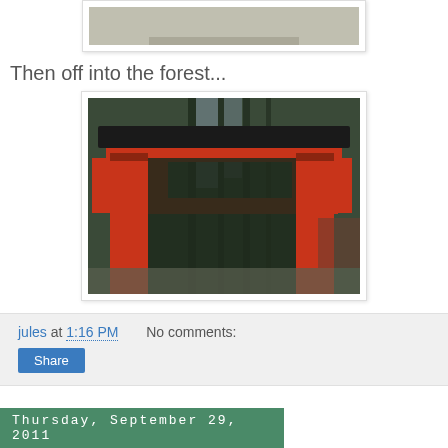[Figure (photo): Partial view of a path or walkway, bottom portion of image visible, with gravel/stone ground]
Then off into the forest...
[Figure (photo): Large red torii gate in a forest, photographed from below looking up, with tall dark green trees in background]
jules at 1:16 PM    No comments:
Share
Thursday, September 29, 2011